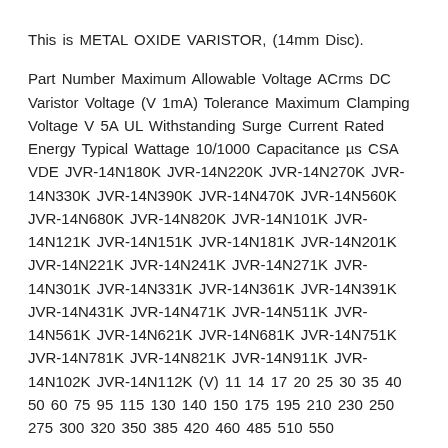This is METAL OXIDE VARISTOR, (14mm Disc).
Part Number Maximum Allowable Voltage ACrms DC Varistor Voltage (V 1mA) Tolerance Maximum Clamping Voltage V 5A UL Withstanding Surge Current Rated Energy Typical Wattage 10/1000 Capacitance µs CSA VDE JVR-14N180K JVR-14N220K JVR-14N270K JVR-14N330K JVR-14N390K JVR-14N470K JVR-14N560K JVR-14N680K JVR-14N820K JVR-14N101K JVR-14N121K JVR-14N151K JVR-14N181K JVR-14N201K JVR-14N221K JVR-14N241K JVR-14N271K JVR-14N301K JVR-14N331K JVR-14N361K JVR-14N391K JVR-14N431K JVR-14N471K JVR-14N511K JVR-14N561K JVR-14N621K JVR-14N681K JVR-14N751K JVR-14N781K JVR-14N821K JVR-14N911K JVR-14N102K JVR-14N112K (V) 11 14 17 20 25 30 35 40 50 60 75 95 115 130 140 150 175 195 210 230 250 275 300 320 350 385 420 460 485 510 550